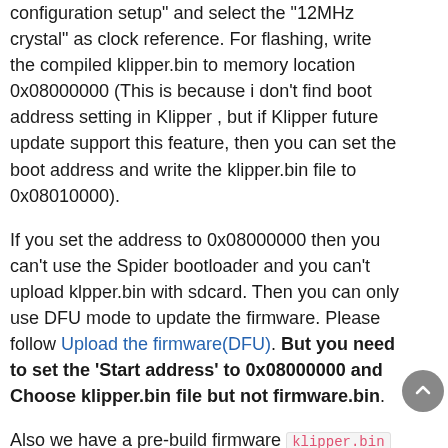configuration setup" and select the "12MHz crystal" as clock reference. For flashing, write the compiled klipper.bin to memory location 0x08000000 (This is because i don't find boot address setting in Klipper , but if Klipper future update support this feature, then you can set the boot address and write the klipper.bin file to 0x08010000).
If you set the address to 0x08000000 then you can't use the Spider bootloader and you can't upload klpper.bin with sdcard. Then you can only use DFU mode to update the firmware. Please follow Upload the firmware(DFU). But you need to set the 'Start address' to 0x08000000 and Choose klipper.bin file but not firmware.bin.
Also we have a pre-build firmware klipper.bin in firmware/Klipper folder in this repository. You can just use it.